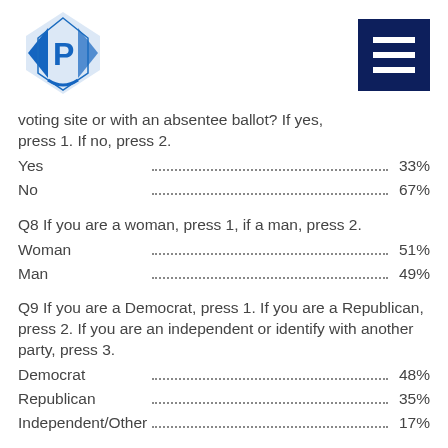[Figure (logo): Blue diamond/shield shaped logo with letter P inside, Precision Polls or similar polling company logo]
voting site or with an absentee ballot? If yes, press 1. If no, press 2.
Yes ... 33%
No ... 67%
Q8 If you are a woman, press 1, if a man, press 2.
Woman ... 51%
Man ... 49%
Q9 If you are a Democrat, press 1. If you are a Republican, press 2. If you are an independent or identify with another party, press 3.
Democrat ... 48%
Republican ... 35%
Independent/Other ... 17%
Q10 If you are white, press one now. If you are African-American, press two now. If other,